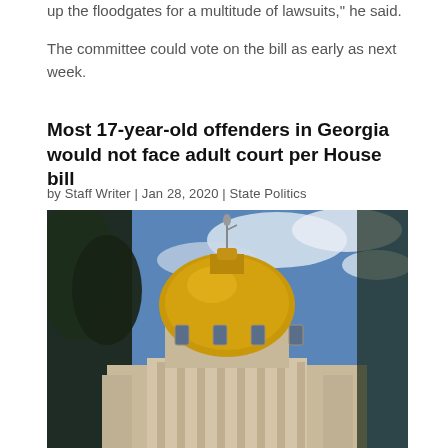up the floodgates for a multitude of lawsuits," he said.
The committee could vote on the bill as early as next week.
Most 17-year-old offenders in Georgia would not face adult court per House bill
by Staff Writer | Jan 28, 2020 | State Politics
[Figure (photo): Upward angle photograph of the Georgia State Capitol building dome, gold-colored dome with a statue on top, blue sky with clouds in background, dark trees on the left side.]